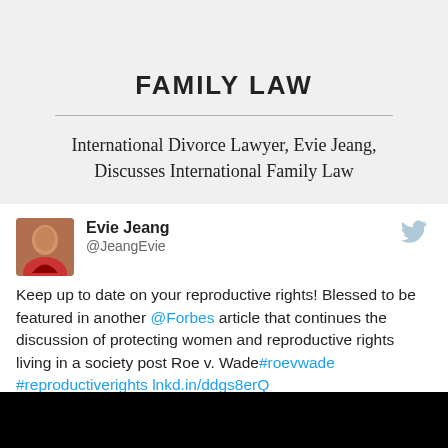FAMILY LAW
International Divorce Lawyer, Evie Jeang, Discusses International Family Law
Evie Jeang @JeangEvie Keep up to date on your reproductive rights! Blessed to be featured in another @Forbes article that continues the discussion of protecting women and reproductive rights living in a society post Roe v. Wade#roevwade #reproductiverights lnkd.in/ddgs8erQ
[Figure (photo): Black image strip at the bottom of the page]